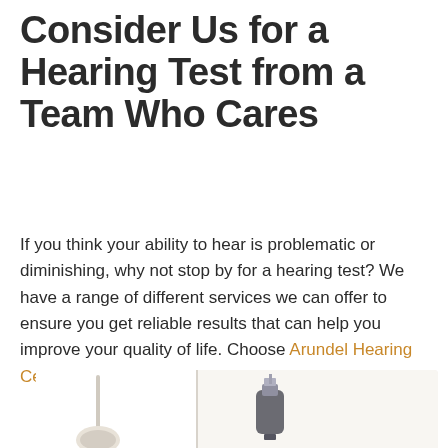Consider Us for a Hearing Test from a Team Who Cares
If you think your ability to hear is problematic or diminishing, why not stop by for a hearing test? We have a range of different services we can offer to ensure you get reliable results that can help you improve your quality of life. Choose Arundel Hearing Centre and collaborate with a team who cares.
[Figure (photo): Photo of hearing aid devices on a light background]